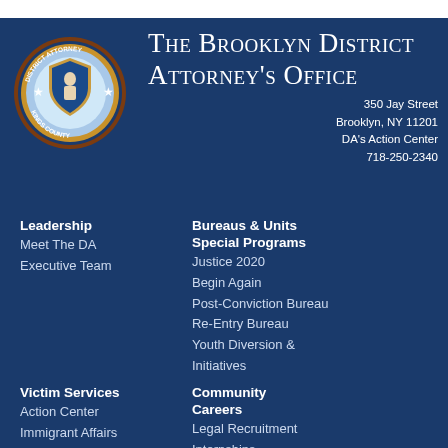[Figure (logo): District Attorney Kings County circular seal/logo]
The Brooklyn District Attorney's Office
350 Jay Street
Brooklyn, NY 11201
DA's Action Center
718-250-2340
Leadership
Meet The DA
Executive Team
Bureaus & Units
Special Programs
Justice 2020
Begin Again
Post-Conviction Bureau
Re-Entry Bureau
Youth Diversion & Initiatives
Victim Services
Action Center
Immigrant Affairs
Labor Fraud
Human Trafficking
Community
Careers
Legal Recruitment
Internships
Legal Training